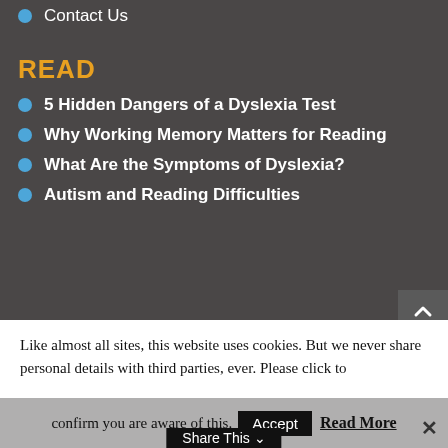Contact Us
READ
5 Hidden Dangers of a Dyslexia Test
Why Working Memory Matters for Reading
What Are the Symptoms of Dyslexia?
Autism and Reading Difficulties
Like almost all sites, this website uses cookies. But we never share personal details with third parties, ever. Please click to confirm you are aware of this.
Accept
Read More
Share This